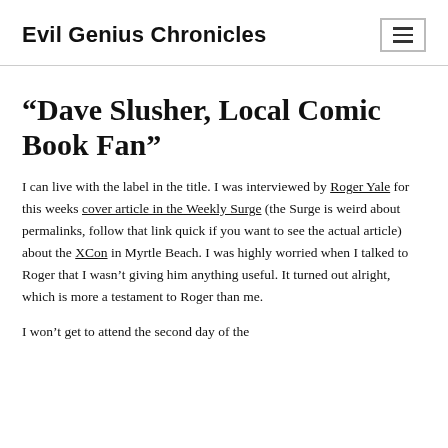Evil Genius Chronicles
“Dave Slusher, Local Comic Book Fan”
I can live with the label in the title. I was interviewed by Roger Yale for this weeks cover article in the Weekly Surge (the Surge is weird about permalinks, follow that link quick if you want to see the actual article) about the XCon in Myrtle Beach. I was highly worried when I talked to Roger that I wasn’t giving him anything useful. It turned out alright, which is more a testament to Roger than me.
I won’t get to attend the second day of the